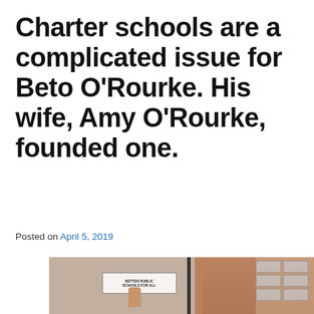Charter schools are a complicated issue for Beto O’Rourke. His wife, Amy O’Rourke, founded one.
Posted on April 5, 2019
[Figure (photo): Outdoor scene showing a building facade with brick walls, a vertical pole, protest signs, and a raised hand visible in the crowd.]